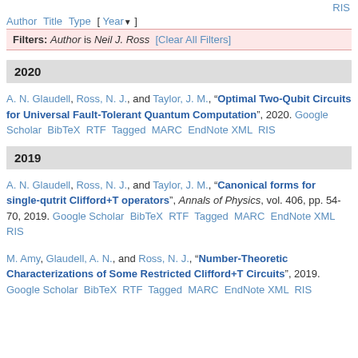RIS
Author Title Type [ Year ] Filters: Author is Neil J. Ross [Clear All Filters]
2020
A. N. Glaudell, Ross, N. J., and Taylor, J. M., "Optimal Two-Qubit Circuits for Universal Fault-Tolerant Quantum Computation", 2020. Google Scholar BibTeX RTF Tagged MARC EndNote XML RIS
2019
A. N. Glaudell, Ross, N. J., and Taylor, J. M., "Canonical forms for single-qutrit Clifford+T operators", Annals of Physics, vol. 406, pp. 54-70, 2019. Google Scholar BibTeX RTF Tagged MARC EndNote XML RIS
M. Amy, Glaudell, A. N., and Ross, N. J., "Number-Theoretic Characterizations of Some Restricted Clifford+T Circuits", 2019. Google Scholar BibTeX RTF Tagged MARC EndNote XML RIS